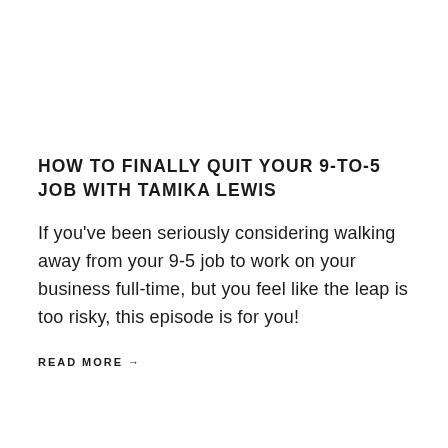HOW TO FINALLY QUIT YOUR 9-TO-5 JOB WITH TAMIKA LEWIS
If you've been seriously considering walking away from your 9-5 job to work on your business full-time, but you feel like the leap is too risky, this episode is for you!
READ MORE →